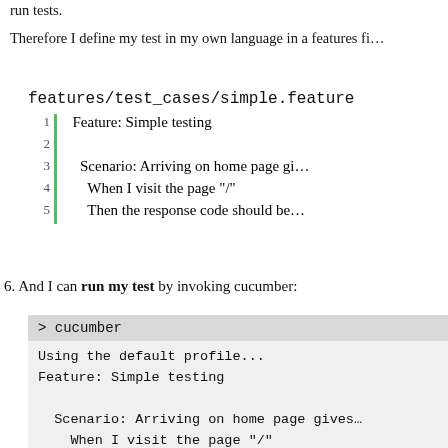run tests.
Therefore I define my test in my own language in a features fi…
[Figure (screenshot): Code block showing features/test_cases/simple.feature with line numbers 1-5 and a green vertical bar. Lines: 1: Feature: Simple testing, 2: (empty), 3: Scenario: Arriving on home page gi…, 4: When I visit the page "/", 5: Then the response code should be…]
6. And I can run my test by invoking cucumber:
[Figure (screenshot): Terminal block showing '> cucumber' command and output: Using the default profile..., Feature: Simple testing, Scenario: Arriving on home page gives…, When I visit the page "/"…, Undefined step: "I visit the page…", features\test_cases\simple.feature…, Then the response code should be "20…, Undefined step: "the response code…]